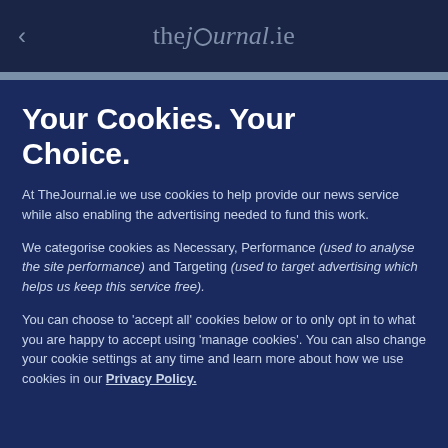thejournal.ie
Your Cookies. Your Choice.
At TheJournal.ie we use cookies to help provide our news service while also enabling the advertising needed to fund this work.
We categorise cookies as Necessary, Performance (used to analyse the site performance) and Targeting (used to target advertising which helps us keep this service free).
You can choose to 'accept all' cookies below or to only opt in to what you are happy to accept using 'manage cookies'. You can also change your cookie settings at any time and learn more about how we use cookies in our Privacy Policy.